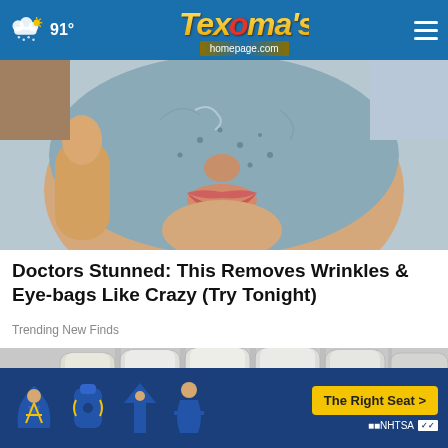91° Texoma's homepage.com
[Figure (photo): Close-up of a person with a blue/gray face mask applied, showing lips and nose exposed from the mask, with a hand touching the side of the face]
Doctors Stunned: This Removes Wrinkles & Eye-bags Like Crazy (Try Tonight)
Trending New Finds
[Figure (photo): Close-up of white/off-white dental teeth model or 3D rendering showing multiple teeth from the front]
[Figure (infographic): Advertisement banner for NHTSA 'The Right Seat' campaign with car seat safety icons and a yellow CTA button]